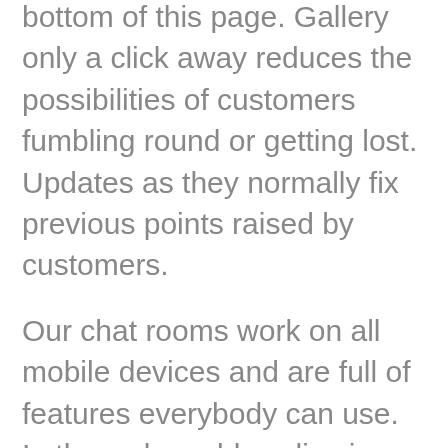bottom of this page. Gallery only a click away reduces the possibilities of customers fumbling round or getting lost. Updates as they normally fix previous points raised by customers.
Our chat rooms work on all mobile devices and are full of features everybody can use. In the web world we live in today, it could be very important shield your privateness and maintain secure. This website has been in operation for larger than 20 years and our staff is trusted with serving to to protect your security and privacy. Our communities enlist moderators to maintain your go to clear, secure, stress-free and fun. To